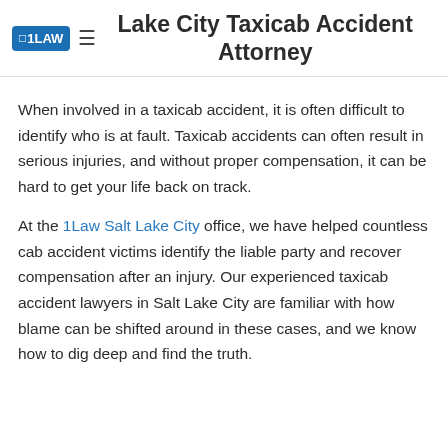Lake City Taxicab Accident Attorney
When involved in a taxicab accident, it is often difficult to identify who is at fault. Taxicab accidents can often result in serious injuries, and without proper compensation, it can be hard to get your life back on track.
At the 1Law Salt Lake City office, we have helped countless cab accident victims identify the liable party and recover compensation after an injury. Our experienced taxicab accident lawyers in Salt Lake City are familiar with how blame can be shifted around in these cases, and we know how to dig deep and find the truth.